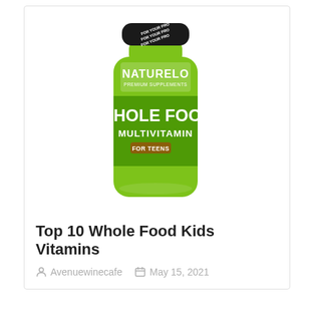[Figure (photo): Green NATURELO Premium Supplements Whole Food Multivitamin For Teens bottle with black tamper-evident cap]
Top 10 Whole Food Kids Vitamins
Avenuewinecafe   May 15, 2021